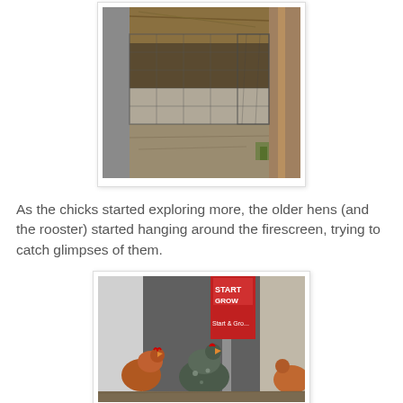[Figure (photo): A wire mesh firescreen enclosure or pen on dirt/straw ground, with hay visible at top, wooden structure in background, outdoors in daylight.]
As the chicks started exploring more, the older hens (and the rooster) started hanging around the firescreen, trying to catch glimpses of them.
[Figure (photo): Several chickens (hens and a rooster) gathered near a firescreen/mesh barrier inside what appears to be a coop or barn. A red bag labeled 'Start & Grow' feed is visible in the background.]